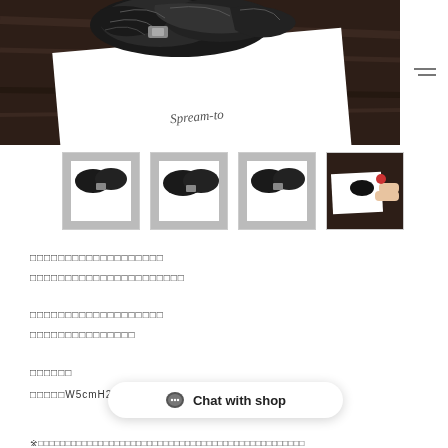[Figure (photo): Product photo showing a dark knitted/fuzzy hair accessory (scrunchie or clip) placed on a white card on a wooden dark table. The card has handwritten text reading 'Spream-to'. Below are four thumbnail photos of the same product from different angles.]
□□□□□□□□□□□□□□□□□□□
□□□□□□□□□□□□□□□□□□□□□□
□□□□□□□□□□□□□□□□□□□
□□□□□□□□□□□□□□□
□□□□□□
□□□□□W5cmH2c
※□□□□□□□□□□□□□□□□□□□□□□□□□□□□□□□□□□□□□□□□□□□□□□□□□